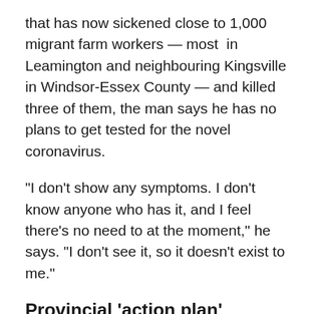that has now sickened close to 1,000 migrant farm workers — most in Leamington and neighbouring Kingsville in Windsor-Essex County — and killed three of them, the man says he has no plans to get tested for the novel coronavirus.
"I don't show any symptoms. I don't know anyone who has it, and I feel there's no need to at the moment," he says. "I don't see it, so it doesn't exist to me."
Provincial 'action plan'
Agriculture is big business in Windsor-Essex, with more than 175 farms, greenhouses and wineries contracting some 8,000 official migrant workers to help raise and harvest the crops every year.